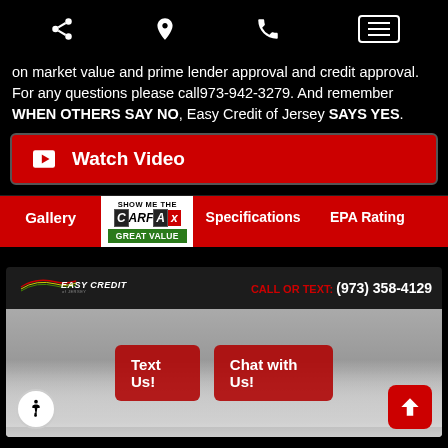Navigation bar with share, location, phone, and menu icons
on market value and prime lender approval and credit approval. For any questions please call973-942-3279. And remember WHEN OTHERS SAY NO, Easy Credit of Jersey SAYS YES.
Watch Video
Gallery
[Figure (logo): CARFAX Show Me The CARFAX - Great Value badge]
Specifications
EPA Rating
[Figure (infographic): Easy Credit of Jersey dealer banner with logo and contact info CALL OR TEXT: (973) 358-4129, with car image below showing overlay buttons Text Us! and Chat with Us!, accessibility icon, and scroll-to-top button]